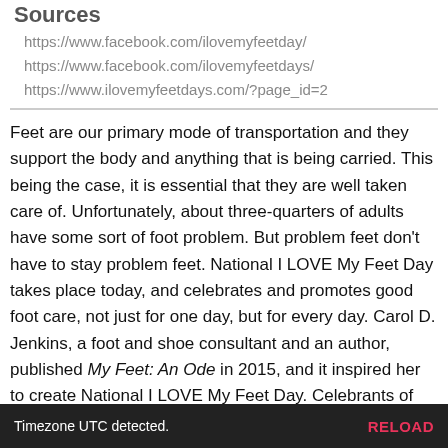Sources
https://www.facebook.com/ilovemyfeetday/
https://www.facebook.com/ilovemyfeetdays/
https://www.ilovemyfeetdays.com/?page_id=2
Feet are our primary mode of transportation and they support the body and anything that is being carried. This being the case, it is essential that they are well taken care of. Unfortunately, about three-quarters of adults have some sort of foot problem. But problem feet don't have to stay problem feet. National I LOVE My Feet Day takes place today, and celebrates and promotes good foot care, not just for one day, but for every day. Carol D. Jenkins, a foot and shoe consultant and an author, published My Feet: An Ode in 2015, and it inspired her to create National I LOVE My Feet Day. Celebrants of the day spend it getting pedicures and manicures, buying comfy pairs of shoes, and taking other steps to keep their feet in tip-top shape.
Timezone UTC detected.  RELOAD